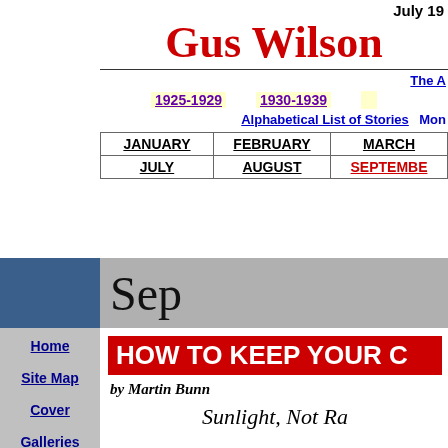July 19
Gus Wilson
The A
1925-1929   1930-1939
Alphabetical List of Stories   Mon
| JANUARY | FEBRUARY | MARCH |
| --- | --- | --- |
| JULY | AUGUST | SEPTEMBER |
Sep
HOW TO KEEP YOUR C
by Martin Bunn
Sunlight, Not Ra
Home
Site Map
Cover
Galleries
Of Interest